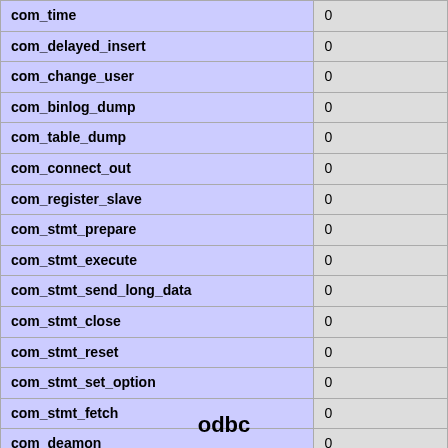| com_time | 0 |
| com_delayed_insert | 0 |
| com_change_user | 0 |
| com_binlog_dump | 0 |
| com_table_dump | 0 |
| com_connect_out | 0 |
| com_register_slave | 0 |
| com_stmt_prepare | 0 |
| com_stmt_execute | 0 |
| com_stmt_send_long_data | 0 |
| com_stmt_close | 0 |
| com_stmt_reset | 0 |
| com_stmt_set_option | 0 |
| com_stmt_fetch | 0 |
| com_deamon | 0 |
| bytes_received_real_data_normal | 0 |
| bytes_received_real_data_ps | 0 |
odbc